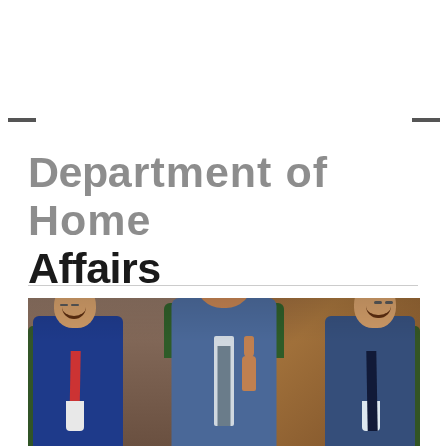Department of Home Affairs
[Figure (photo): A bald man in a blue suit speaks passionately in what appears to be the Australian Parliament House chamber, pointing upward with one finger. Two other men in suits are visible on either side, both smiling. Green leather chairs and wooden panelling are visible in the background.]